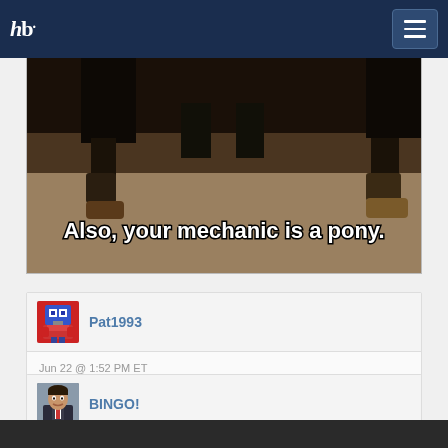hb [logo] [menu button]
[Figure (screenshot): Meme image showing legs/feet of people standing, with white bold text caption: 'Also, your mechanic is a pony.']
Pat1993
Jun 22 @ 1:52 PM ET
aww, that poney is adorable. plus it's a mechanic, which is awesome.
BINGO!
Jun 22 @ 1:58 PM ET